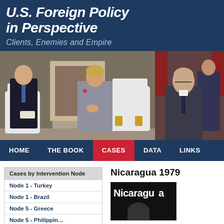U.S. Foreign Policy in Perspective
Clients, Enemies and Empire
[Figure (photo): Two photographs: left shows Ronald Reagan and Margaret Thatcher in conversation seated in formal chairs; right shows an unidentified bald man in a suit at what appears to be a formal event.]
HOME | THE BOOK | CASES | DATA | LINKS
Cases by Intervention Node
Node 1 - Turkey
Node 1 - Brazil
Node 5 - Greece
Nicaragua 1979
[Figure (photo): Black and white image with the word 'Nicaragua' in bold white text on black background, with a partial figure visible.]